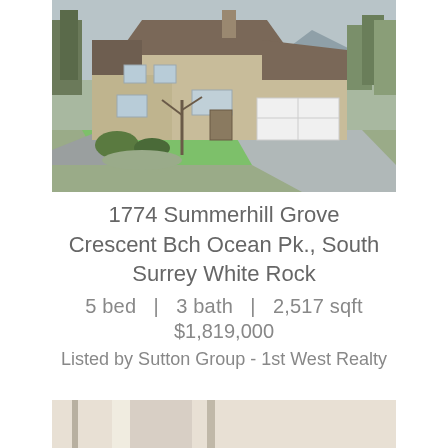[Figure (photo): Exterior photo of a two-story suburban home with beige siding, brown roof, attached two-car white garage, green lawn, and landscaping. Overcast/rainy day. Tall evergreen trees in background.]
1774 Summerhill Grove Crescent Bch Ocean Pk., South Surrey White Rock
5 bed  |  3 bath  |  2,517 sqft
$1,819,000
Listed by Sutton Group - 1st West Realty
[Figure (photo): Partial view of an interior room, cropped at bottom of page.]